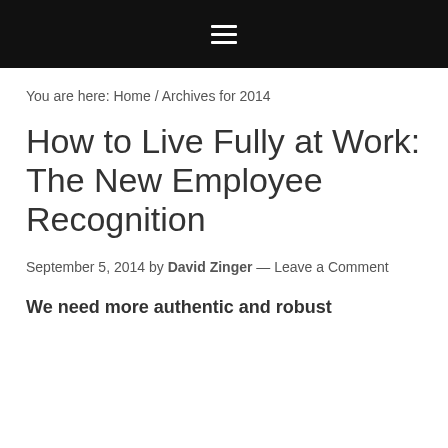≡ (navigation menu)
You are here: Home / Archives for 2014
How to Live Fully at Work: The New Employee Recognition
September 5, 2014 by David Zinger — Leave a Comment
We need more authentic and robust